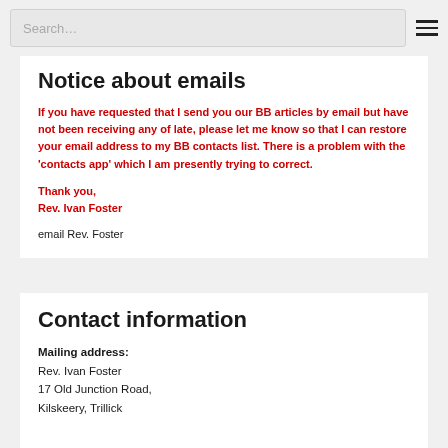Search…
Notice about emails
If you have requested that I send you our BB articles by email but have not been receiving any of late, please let me know so that I can restore your email address to my BB contacts list. There is a problem with the 'contacts app' which I am presently trying to correct.
Thank you,
Rev. Ivan Foster
email Rev. Foster
Contact information
Mailing address:
Rev. Ivan Foster
17 Old Junction Road,
Kilskeery, Trillick